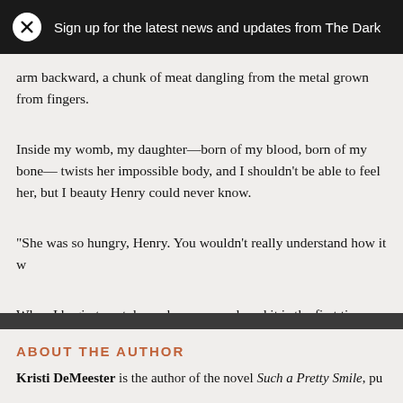Sign up for the latest news and updates from The Dark
arm backward, a chunk of meat dangling from the metal grown from fingers.
Inside my womb, my daughter—born of my blood, born of my bone— twists her impossible body, and I shouldn't be able to feel her, but I beauty Henry could never know.
“She was so hungry, Henry. You wouldn't really understand how it w
When I begin to eat, he makes no sound, and it is the first time I've room with my husband in silence.
ABOUT THE AUTHOR
Kristi DeMeester is the author of the novel Such a Pretty Smile, pu